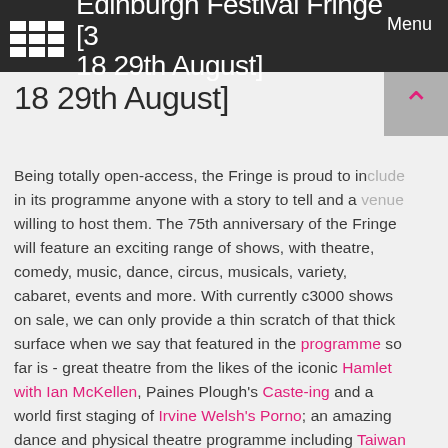Edinburgh Festival Fringe [3 18 29th August]
18 29th August]
Being totally open-access, the Fringe is proud to include in its programme anyone with a story to tell and a venue willing to host them. The 75th anniversary of the Fringe will feature an exciting range of shows, with theatre, comedy, music, dance, circus, musicals, variety, cabaret, events and more. With currently c3000 shows on sale, we can only provide a thin scratch of that thick surface when we say that featured in the programme so far is - great theatre from the likes of the iconic Hamlet with Ian McKellen, Paines Plough's Caste-ing and a world first staging of Irvine Welsh's Porno; an amazing dance and physical theatre programme including Taiwan Season: Tomato, a celebration of Cuban street dance...